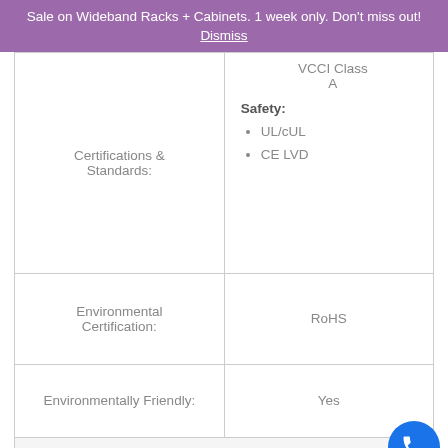Sale on Wideband Racks + Cabinets. 1 week only. Don't miss out! Dismiss
|  |  |
| --- | --- |
| Certifications & Standards: | VCCI Class A
Safety:
• UL/cUL
• CE LVD |
| Environmental Certification: | RoHS |
| Environmentally Friendly: | Yes |
| Network & Communication |  |